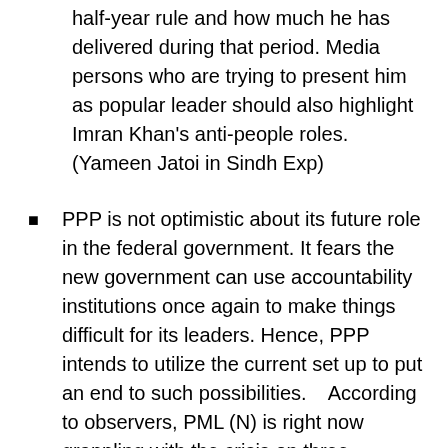half-year rule and how much he has delivered during that period. Media persons who are trying to present him as popular leader should also highlight Imran Khan's anti-people roles. (Yameen Jatoi in Sindh Exp)
PPP is not optimistic about its future role in the federal government. It fears the new government can use accountability institutions once again to make things difficult for its leaders. Hence, PPP intends to utilize the current set up to put an end to such possibilities.    According to observers, PML (N) is right now grappling with the crisis on three fronts.... economy, political management and the imminent Long March. The challenges can leave the ML (N) a much-weakened force in the times to come. (Latif Jamal in Kawish, May 23)